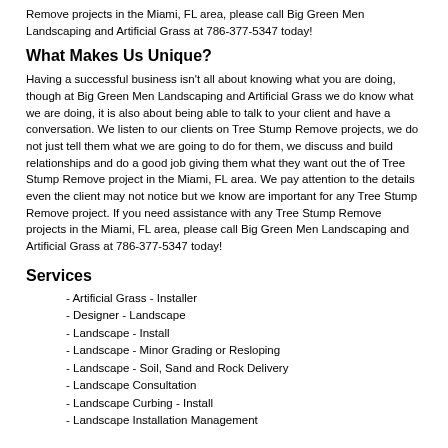Remove projects in the Miami, FL area, please call Big Green Men Landscaping and Artificial Grass at 786-377-5347 today!
What Makes Us Unique?
Having a successful business isn't all about knowing what you are doing, though at Big Green Men Landscaping and Artificial Grass we do know what we are doing, it is also about being able to talk to your client and have a conversation. We listen to our clients on Tree Stump Remove projects, we do not just tell them what we are going to do for them, we discuss and build relationships and do a good job giving them what they want out the of Tree Stump Remove project in the Miami, FL area. We pay attention to the details even the client may not notice but we know are important for any Tree Stump Remove project. If you need assistance with any Tree Stump Remove projects in the Miami, FL area, please call Big Green Men Landscaping and Artificial Grass at 786-377-5347 today!
Services
- Artificial Grass - Installer
- Designer - Landscape
- Landscape - Install
- Landscape - Minor Grading or Resloping
- Landscape - Soil, Sand and Rock Delivery
- Landscape Consultation
- Landscape Curbing - Install
- Landscape Installation Management